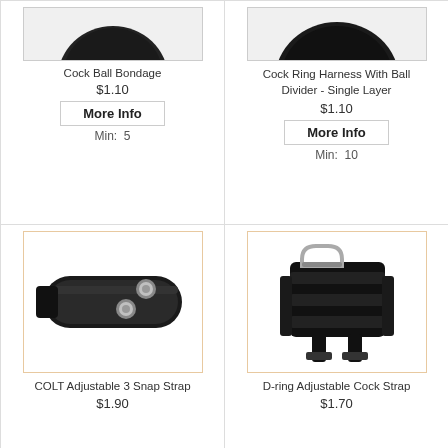[Figure (photo): Cock Ball Bondage product image (partially cropped, top portion of dark rounded object)]
Cock Ball Bondage
$1.10
More Info
Min:  5
[Figure (photo): Cock Ring Harness With Ball Divider - Single Layer product image (partially cropped, top portion of dark rounded object)]
Cock Ring Harness With Ball Divider - Single Layer
$1.10
More Info
Min:  10
[Figure (photo): COLT Adjustable 3 Snap Strap - black leather strap with two silver snaps on white background]
COLT Adjustable 3 Snap Strap
$1.90
[Figure (photo): D-ring Adjustable Cock Strap - black leather and velcro strap device with metal D-ring on white background]
D-ring Adjustable Cock Strap
$1.70